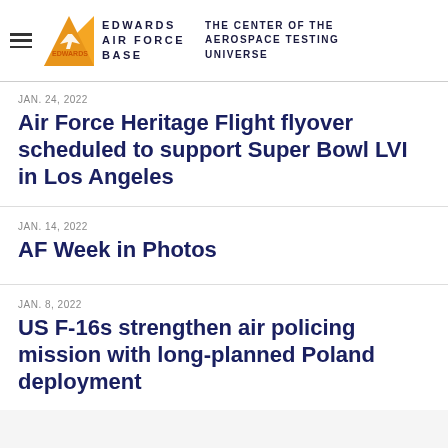EDWARDS AIR FORCE BASE — THE CENTER OF THE AEROSPACE TESTING UNIVERSE
JAN. 24, 2022
Air Force Heritage Flight flyover scheduled to support Super Bowl LVI in Los Angeles
JAN. 14, 2022
AF Week in Photos
JAN. 8, 2022
US F-16s strengthen air policing mission with long-planned Poland deployment